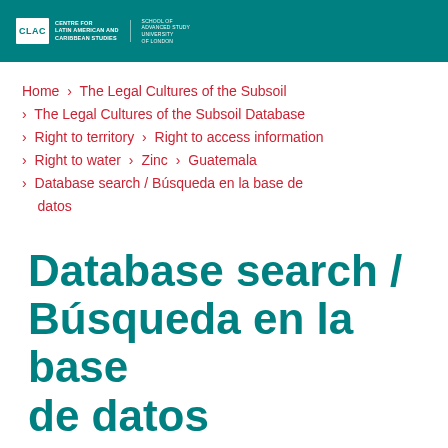CLAC | Centre for Latin American and Caribbean Studies | School of Advanced Study, University of London
Home > The Legal Cultures of the Subsoil
> The Legal Cultures of the Subsoil Database
> Right to territory > Right to access information
> Right to water > Zinc > Guatemala
> Database search / Búsqueda en la base de datos
Database search / Búsqueda en la base de datos